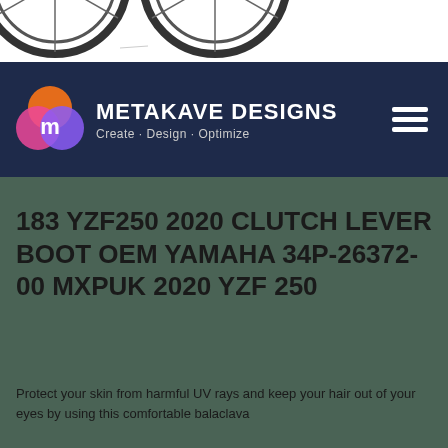[Figure (photo): Partial view of two bicycle wheels on white background, cropped at top]
METAKAVE DESIGNS · Create · Design · Optimize
183 YZF250 2020 CLUTCH LEVER BOOT OEM YAMAHA 34P-26372-00 MXPUK 2020 YZF 250
Protect your skin from harmful UV rays and keep your hair out of your eyes by using this comfortable balaclava...